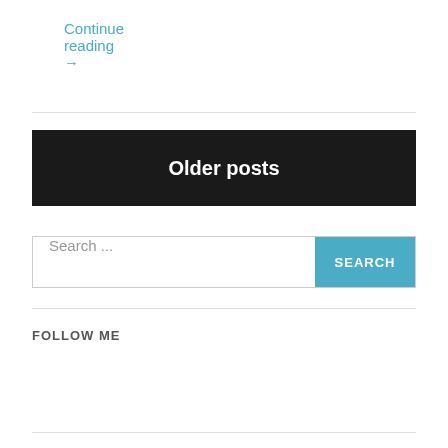Continue reading →
Older posts
Search ...
SEARCH
FOLLOW ME